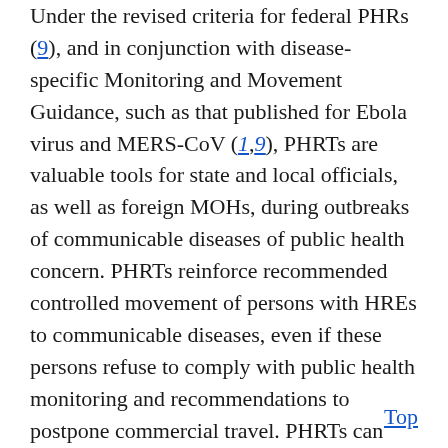Under the revised criteria for federal PHRs (9), and in conjunction with disease-specific Monitoring and Movement Guidance, such as that published for Ebola virus and MERS-CoV (1,9), PHRTs are valuable tools for state and local officials, as well as foreign MOHs, during outbreaks of communicable diseases of public health concern. PHRTs reinforce recommended controlled movement of persons with HREs to communicable diseases, even if these persons refuse to comply with public health monitoring and recommendations to postpone commercial travel. PHRTs can enhance global health security by providing a mechanism to mitigate international importation, transmission, and spread of highly communicable diseases during epidemics of high consequence or emerging infectious diseases.
Top